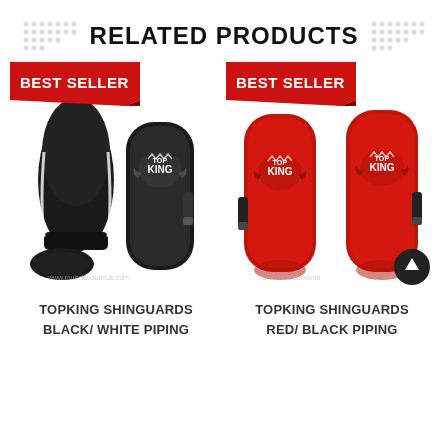RELATED PRODUCTS
[Figure (photo): Black Top King shinguards (pair) with white piping, displayed with 'BEST SELLER' red ribbon badge]
TOPKING SHINGUARDS BLACK/ WHITE PIPING
[Figure (photo): Red Top King shinguards (pair) with black piping, displayed with 'BEST SELLER' red ribbon badge]
TOPKING SHINGUARDS RED/ BLACK PIPING